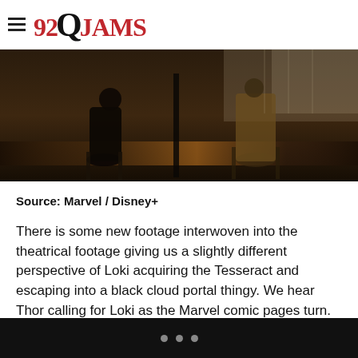92Q JAMS
[Figure (photo): Dark interior photo showing two silhouetted figures seated on chairs, with warm orange/amber lighting in the background suggesting a dimly lit room or studio setting.]
Source: Marvel / Disney+
There is some new footage interwoven into the theatrical footage giving us a slightly different perspective of Loki acquiring the Tesseract and escaping into a black cloud portal thingy. We hear Thor calling for Loki as the Marvel comic pages turn.
Post page turn we discover that Loki teleported himself to the Gobi Desert in Mongolia. Having landed in some sand, Loki
• • •